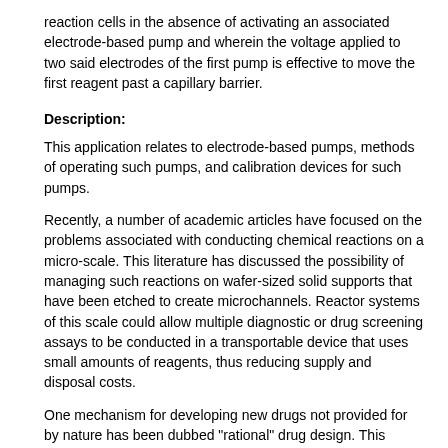reaction cells in the absence of activating an associated electrode-based pump and wherein the voltage applied to two said electrodes of the first pump is effective to move the first reagent past a capillary barrier.
Description:
This application relates to electrode-based pumps, methods of operating such pumps, and calibration devices for such pumps.
Recently, a number of academic articles have focused on the problems associated with conducting chemical reactions on a micro-scale. This literature has discussed the possibility of managing such reactions on wafer-sized solid supports that have been etched to create microchannels. Reactor systems of this scale could allow multiple diagnostic or drug screening assays to be conducted in a transportable device that uses small amounts of reagents, thus reducing supply and disposal costs.
One mechanism for developing new drugs not provided for by nature has been dubbed "rational" drug design. This process looks at the structures of biological macromolecules as determined by crystallography and at the structures of pharmacological agents known to interact with these macromolecules. With the use of computer workstations, it was hoped that new pharmacological agents could be designed that had appropriately